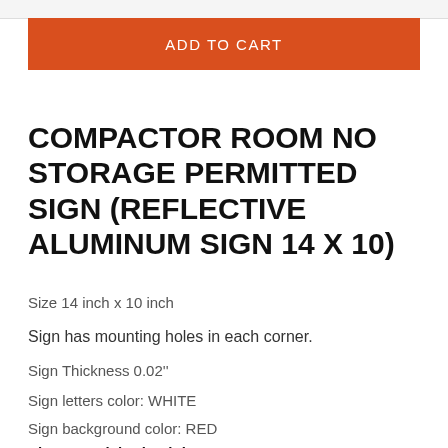[Figure (other): Top navigation bar partial view]
ADD TO CART
COMPACTOR ROOM NO STORAGE PERMITTED SIGN (REFLECTIVE ALUMINUM SIGN 14 X 10)
Size 14 inch x 10 inch
Sign has mounting holes in each corner.
Sign Thickness 0.02''
Sign letters color: WHITE
Sign background color: RED
Sign material: Aluminium